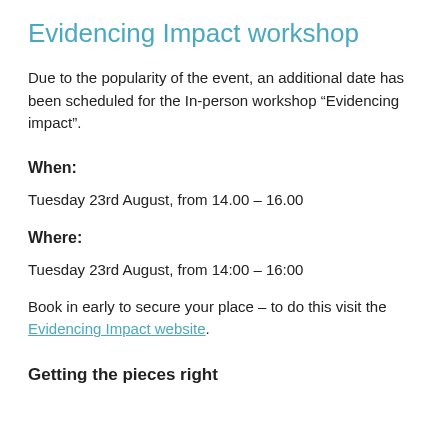Evidencing Impact workshop
Due to the popularity of the event, an additional date has been scheduled for the In-person workshop “Evidencing impact”.
When:
Tuesday 23rd August, from 14.00 – 16.00
Where:
Tuesday 23rd August, from 14:00 – 16:00
Book in early to secure your place – to do this visit the Evidencing Impact website.
Getting the pieces right